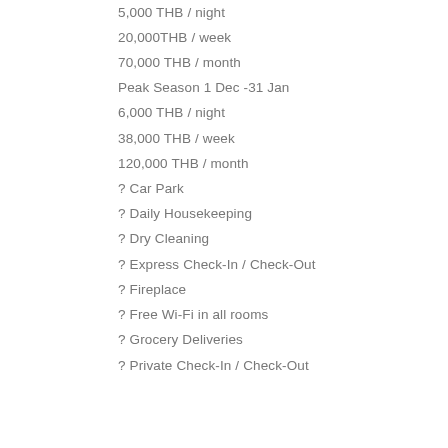5,000 THB / night
20,000THB / week
70,000 THB / month
Peak Season 1 Dec -31 Jan
6,000 THB / night
38,000 THB / week
120,000 THB / month
✓ Car Park
✓ Daily Housekeeping
✓ Dry Cleaning
✓ Express Check-In / Check-Out
✓ Fireplace
✓ Free Wi-Fi in all rooms
✓ Grocery Deliveries
✓ Private Check-In / Check-Out